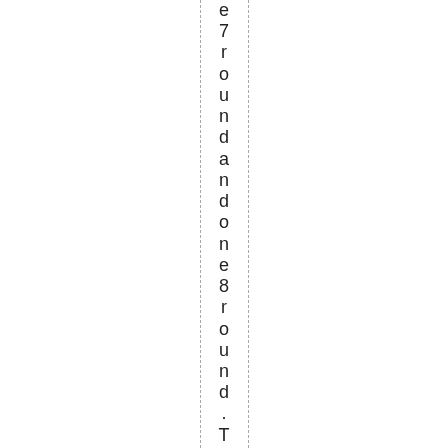e7roundandoneone8round.The8rdm